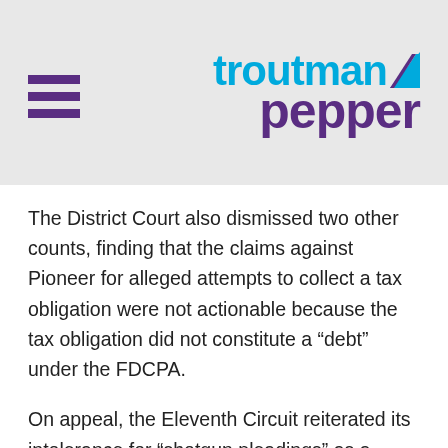[Figure (logo): Troutman Pepper law firm logo with hamburger menu icon]
The District Court also dismissed two other counts, finding that the claims against Pioneer for alleged attempts to collect a tax obligation were not actionable because the tax obligation did not constitute a “debt” under the FDCPA.
On appeal, the Eleventh Circuit reiterated its intolerance for “shotgun pleadings” as a waste of valuable judicial resources, but found that Dressler’s complaint did not exhibit the typical characteristics of a shotgun pleading. The Court observed that a shotgun